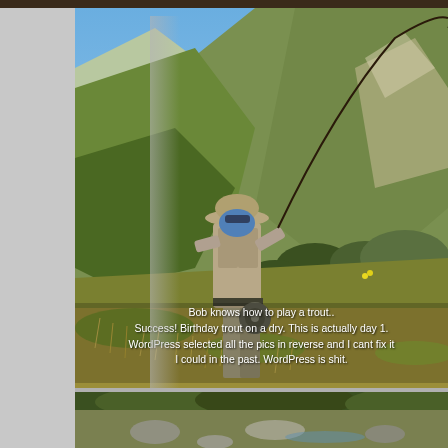[Figure (photo): A fly fisherman in khaki gear and blue face covering, casting a fly rod in a mountainous landscape with green hills, dry grasses, and blue sky. White caption text overlaid on the lower portion of the image.]
Bob knows how to play a trout.. Success! Birthday trout on a dry. This is actually day 1. WordPress selected all the pics in reverse and I cant fix it like I could in the past. WordPress is shit.
[Figure (photo): Partial view of another outdoor/fishing scene at the bottom of the page, mostly cut off.]